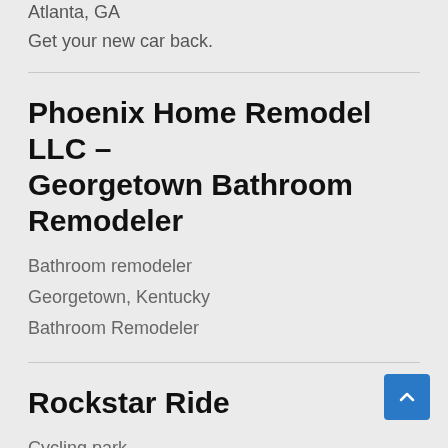Atlanta, GA
Get your new car back.
Phoenix Home Remodel LLC – Georgetown Bathroom Remodeler
Bathroom remodeler
Georgetown, Kentucky
Bathroom Remodeler
Rockstar Ride
Cycling park
Brentwood, New Hampshire